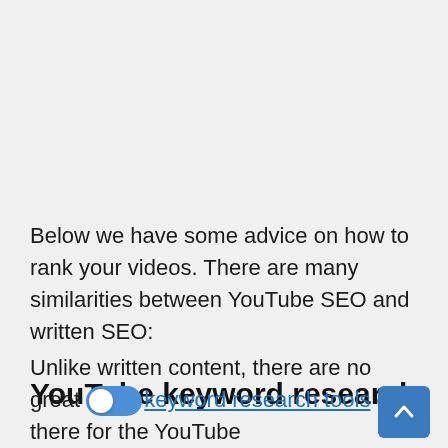Below we have some advice on how to rank your videos. There are many similarities between YouTube SEO and written SEO:
YouTube keyword research
Unlike written content, there are no great keyword research tools out there for the YouTube platform. There are however a few ways SEO experts...